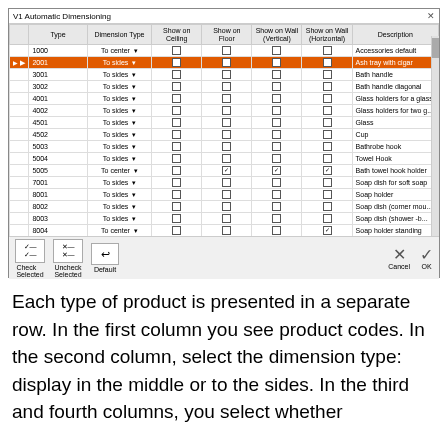[Figure (screenshot): V1 Automatic Dimensioning dialog box. A table with columns: Type, Dimension Type, Show on Ceiling, Show on Floor, Show on Wall (Vertical), Show on Wall (Horizontal), Description. Row 2001 is highlighted in orange. Rows include product codes 1000-10001 with dimension types and checkboxes. Footer has Check Selected, Uncheck Selected, Default, Cancel, OK buttons.]
Each type of product is presented in a separate row. In the first column you see product codes. In the second column, select the dimension type: display in the middle or to the sides. In the third and fourth columns, you select whether